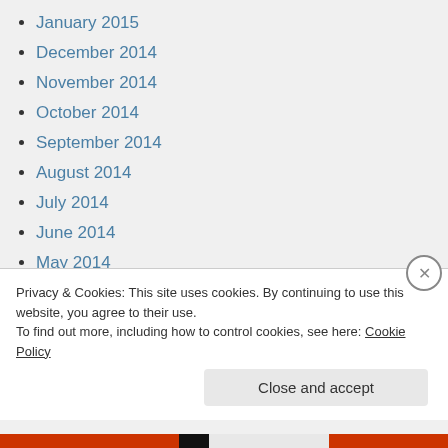January 2015
December 2014
November 2014
October 2014
September 2014
August 2014
July 2014
June 2014
May 2014
April 2014
March 2014
February 2014
January 2014
December 2013
November 2013
Privacy & Cookies: This site uses cookies. By continuing to use this website, you agree to their use.
To find out more, including how to control cookies, see here: Cookie Policy
Close and accept